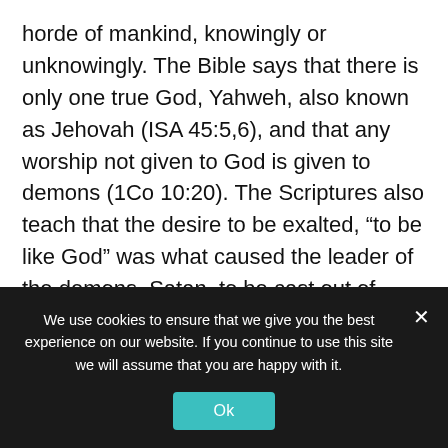horde of mankind, knowingly or unknowingly. The Bible says that there is only one true God, Yahweh, also known as Jehovah (ISA 45:5,6), and that any worship not given to God is given to demons (1Co 10:20). The Scriptures also teach that the desire to be exalted, “to be like God” was what caused the leader of the demons, Satan, to be cast out of heaven (ISA 14:14). Worship is what Satan tried to tempt Jesus Christ to give him while
We use cookies to ensure that we give you the best experience on our website. If you continue to use this site we will assume that you are happy with it.
Ok